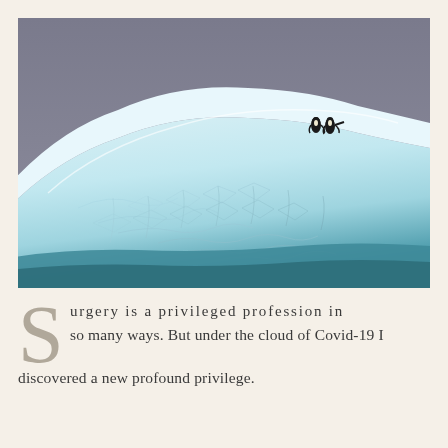[Figure (photo): Two penguins standing on a large blue-white iceberg with cracked ice texture in the foreground, against a grey sky background.]
Surgery is a privileged profession in so many ways. But under the cloud of Covid-19 I discovered a new profound privilege.